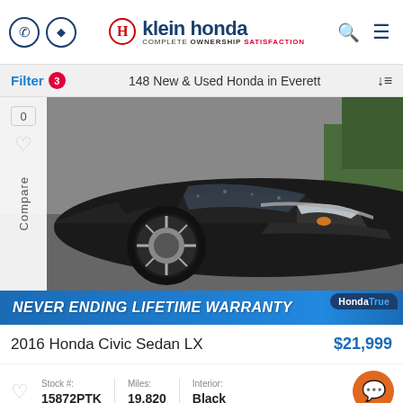klein honda — COMPLETE OWNERSHIP SATISFACTION
Filter 3 — 148 New & Used Honda in Everett
[Figure (photo): Dark gray Honda Civic Sedan photographed from front-left angle in a parking lot, wet with rain. Front wheel, headlight, and hood visible.]
NEVER ENDING LIFETIME WARRANTY — HondaTrue
2016 Honda Civic Sedan LX — $21,999
Stock #: 15872PTK | Miles: 19,820 | Interior: Black
Klein Honda in Everett - SALE! — 425 355 7500